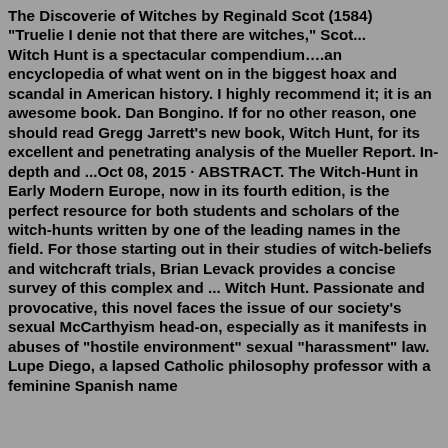The Discoverie of Witches by Reginald Scot (1584) "Truelie I denie not that there are witches," Scot... Witch Hunt is a spectacular compendium….an encyclopedia of what went on in the biggest hoax and scandal in American history. I highly recommend it; it is an awesome book. Dan Bongino. If for no other reason, one should read Gregg Jarrett's new book, Witch Hunt, for its excellent and penetrating analysis of the Mueller Report. In-depth and ...Oct 08, 2015 · ABSTRACT. The Witch-Hunt in Early Modern Europe, now in its fourth edition, is the perfect resource for both students and scholars of the witch-hunts written by one of the leading names in the field. For those starting out in their studies of witch-beliefs and witchcraft trials, Brian Levack provides a concise survey of this complex and ... Witch Hunt. Passionate and provocative, this novel faces the issue of our society's sexual McCarthyism head-on, especially as it manifests in abuses of "hostile environment" sexual "harassment" law. Lupe Diego, a lapsed Catholic philosophy professor with a feminine Spanish name